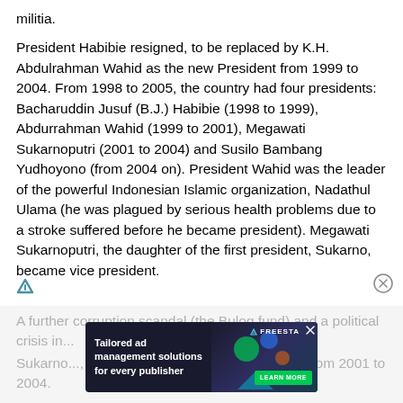militia.
President Habibie resigned, to be replaced by K.H. Abdulrahman Wahid as the new President from 1999 to 2004. From 1998 to 2005, the country had four presidents: Bacharuddin Jusuf (B.J.) Habibie (1998 to 1999), Abdurrahman Wahid (1999 to 2001), Megawati Sukarnoputri (2001 to 2004) and Susilo Bambang Yudhoyono (from 2004 on). President Wahid was the leader of the powerful Indonesian Islamic organization, Nadathul Ulama (he was plagued by serious health problems due to a stroke suffered before he became president). Megawati Sukarnoputri, the daughter of the first president, Sukarno, became vice president.
A further corruption scandal (the Bulog fund) and a political crisis in... Sukarno... election, replaced him as president from 2001 to 2004.
[Figure (screenshot): Advertisement overlay: 'Tailored ad management solutions for every publisher' with FREESTA branding and LEARN MORE button]